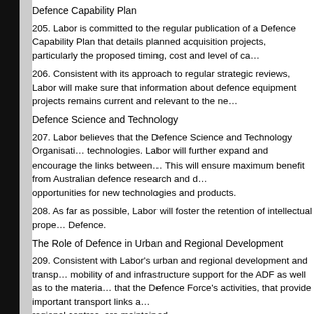Defence Capability Plan
205. Labor is committed to the regular publication of a Defence Capability Plan that details planned acquisition projects, particularly the proposed timing, cost and level of capability.
206. Consistent with its approach to regular strategic reviews, Labor will make sure that information about defence equipment projects remains current and relevant to the needs of the ADF.
Defence Science and Technology
207. Labor believes that the Defence Science and Technology Organisation plays a key role in developing technologies. Labor will further expand and encourage the links between DSTO and Australian industry. This will ensure maximum benefit from Australian defence research and development and provide opportunities for new technologies and products.
208. As far as possible, Labor will foster the retention of intellectual property within Australia and Defence.
The Role of Defence in Urban and Regional Development
209. Consistent with Labor's urban and regional development and transport policies, Labor will attend to the mobility of and infrastructure support for the ADF as well as to the material needs of regional communities, that the Defence Force's activities, that provide important transport links and other infrastructure support to regional centres, are maintained.
Defence Exports
210. Labor will ensure government control over the manufacture and export of defence equipment.
211. Labor supports the export of Australian defence equipment within strict guidelines to ensure exports do not:
• have an adverse impact on Australia's security interests;
• contravene United Nations embargoes; or